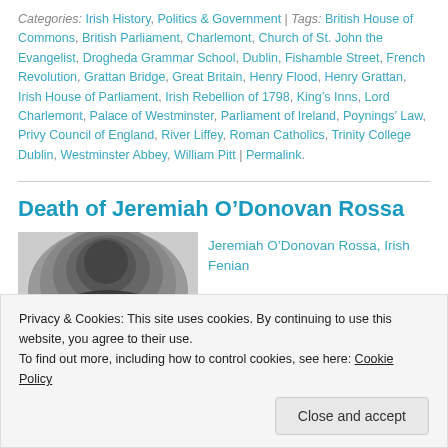Categories: Irish History, Politics & Government | Tags: British House of Commons, British Parliament, Charlemont, Church of St. John the Evangelist, Drogheda Grammar School, Dublin, Fishamble Street, French Revolution, Grattan Bridge, Great Britain, Henry Flood, Henry Grattan, Irish House of Parliament, Irish Rebellion of 1798, King's Inns, Lord Charlemont, Palace of Westminster, Parliament of Ireland, Poynings' Law, Privy Council of England, River Liffey, Roman Catholics, Trinity College Dublin, Westminster Abbey, William Pitt | Permalink.
Death of Jeremiah O’Donovan Rossa
[Figure (photo): Black and white circular/oval portrait photo of Jeremiah O'Donovan Rossa, partially cropped]
Jeremiah O’Donovan Rossa, Irish Fenian
Privacy & Cookies: This site uses cookies. By continuing to use this website, you agree to their use.
To find out more, including how to control cookies, see here: Cookie Policy
Close and accept
Island, New York, on